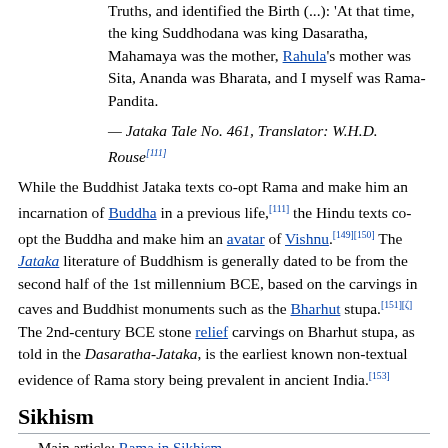Truths, and identified the Birth (...): 'At that time, the king Suddhodana was king Dasaratha, Mahamaya was the mother, Rahula's mother was Sita, Ananda was Bharata, and I myself was Rama-Pandita.
— Jataka Tale No. 461, Translator: W.H.D. Rouse[111]
While the Buddhist Jataka texts co-opt Rama and make him an incarnation of Buddha in a previous life,[111] the Hindu texts co-opt the Buddha and make him an avatar of Vishnu.[149][150] The Jataka literature of Buddhism is generally dated to be from the second half of the 1st millennium BCE, based on the carvings in caves and Buddhist monuments such as the Bharhut stupa.[151][ζ] The 2nd-century BCE stone relief carvings on Bharhut stupa, as told in the Dasaratha-Jataka, is the earliest known non-textual evidence of Rama story being prevalent in ancient India.[153]
Sikhism
Main article: Rama in Sikhism
Rama is mentioned as one of twenty four divine incarnations of Vishnu in the Chaubis Avtar, a composition in Dasam Granth traditionally and historically attributed to Guru Gobind Singh.[22]